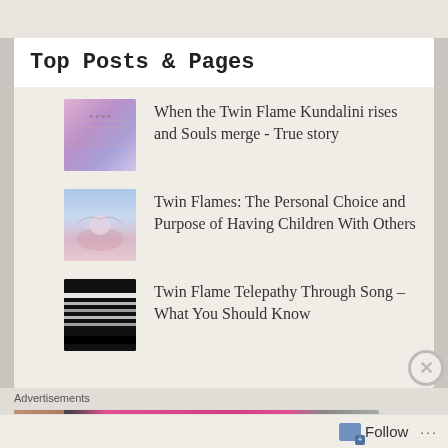Top Posts & Pages
When the Twin Flame Kundalini rises and Souls merge - True story
Twin Flames: The Personal Choice and Purpose of Having Children With Others
Twin Flame Telepathy Through Song – What You Should Know
Advertisements